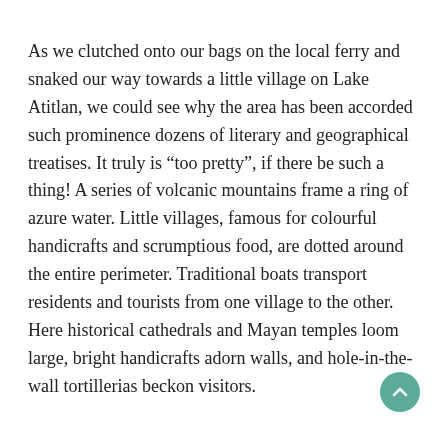As we clutched onto our bags on the local ferry and snaked our way towards a little village on Lake Atitlan, we could see why the area has been accorded such prominence dozens of literary and geographical treatises. It truly is “too pretty”, if there be such a thing! A series of volcanic mountains frame a ring of azure water. Little villages, famous for colourful handicrafts and scrumptious food, are dotted around the entire perimeter. Traditional boats transport residents and tourists from one village to the other. Here historical cathedrals and Mayan temples loom large, bright handicrafts adorn walls, and hole-in-the-wall tortillerias beckon visitors.